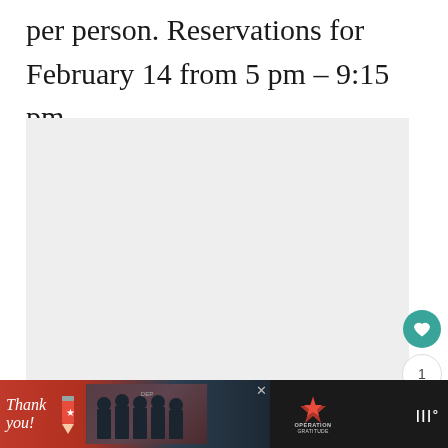per person. Reservations for February 14 from 5 pm – 9:15 pm.
[Figure (photo): Light gray image placeholder area, approximately 383x295px]
[Figure (screenshot): Advertisement bar at bottom: 'Thank you!' handwritten text with pencil graphic and Operation Gratitude logo with group photo of military/first responders. Dark background with close button and weather icon on right.]